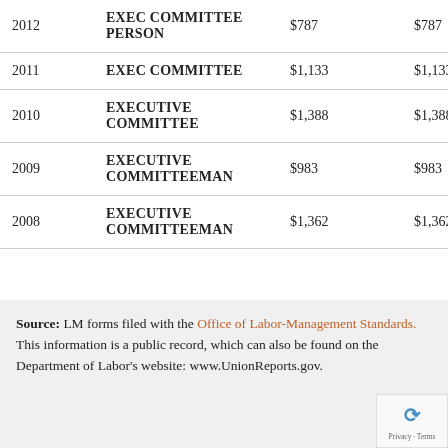| Year | Title | Col3 | Col4 |
| --- | --- | --- | --- |
| 2012 | EXEC COMMITTEE PERSON | $787 | $787 |
| 2011 | EXEC COMMITTEE | $1,133 | $1,133 |
| 2010 | EXECUTIVE COMMITTEE | $1,388 | $1,388 |
| 2009 | EXECUTIVE COMMITTEEMAN | $983 | $983 |
| 2008 | EXECUTIVE COMMITTEEMAN | $1,362 | $1,362 |
Source: LM forms filed with the Office of Labor-Management Standards. This information is a public record, which can also be found on the Department of Labor's website: www.UnionReports.gov.